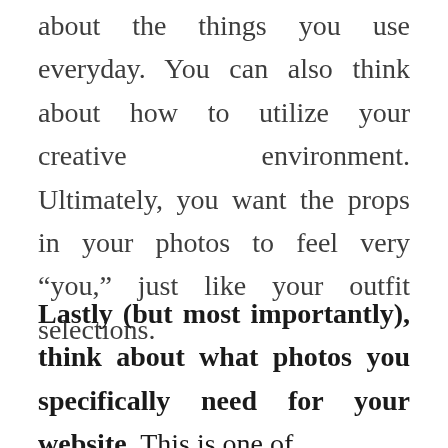about the things you use everyday. You can also think about how to utilize your creative environment. Ultimately, you want the props in your photos to feel very “you,” just like your outfit selections.
Lastly (but most importantly), think about what photos you specifically need for your website. This is one of